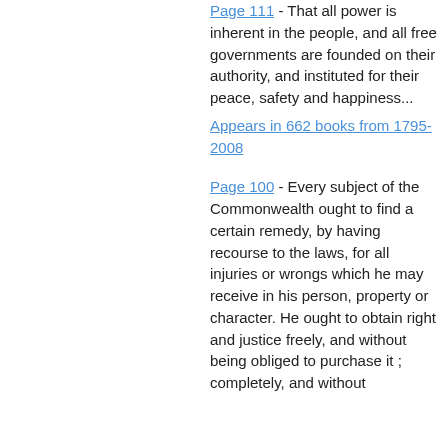Page 111 - That all power is inherent in the people, and all free governments are founded on their authority, and instituted for their peace, safety and happiness...
Appears in 662 books from 1795-2008
Page 100 - Every subject of the Commonwealth ought to find a certain remedy, by having recourse to the laws, for all injuries or wrongs which he may receive in his person, property or character. He ought to obtain right and justice freely, and without being obliged to purchase it ; completely, and without